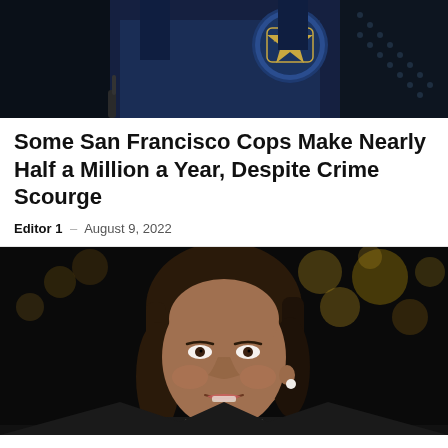[Figure (photo): Police officer in dark uniform with badge visible, cropped close-up]
Some San Francisco Cops Make Nearly Half a Million a Year, Despite Crime Scourge
Editor 1 – August 9, 2022
[Figure (photo): Kamala Harris speaking at a podium with microphone, wearing a dark jacket against a dark background with golden bokeh lights]
Kamala Blasted as Hypocrite for Criticism of Russian Drug Charge